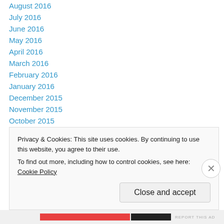August 2016
July 2016
June 2016
May 2016
April 2016
March 2016
February 2016
January 2016
December 2015
November 2015
October 2015
August 2015
July 2015
June 2015
Privacy & Cookies: This site uses cookies. By continuing to use this website, you agree to their use. To find out more, including how to control cookies, see here: Cookie Policy
Close and accept